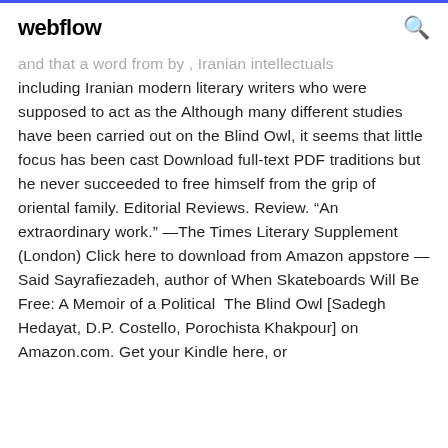webflow
and that a word from by , Iranian intellectuals including Iranian modern literary writers who were supposed to act as the Although many different studies have been carried out on the Blind Owl, it seems that little focus has been cast Download full-text PDF traditions but he never succeeded to free himself from the grip of oriental family. Editorial Reviews. Review. “An extraordinary work.” —The Times Literary Supplement (London) Click here to download from Amazon appstore —Said Sayrafiezadeh, author of When Skateboards Will Be Free: A Memoir of a Political  The Blind Owl [Sadegh Hedayat, D.P. Costello, Porochista Khakpour] on Amazon.com. Get your Kindle here, or